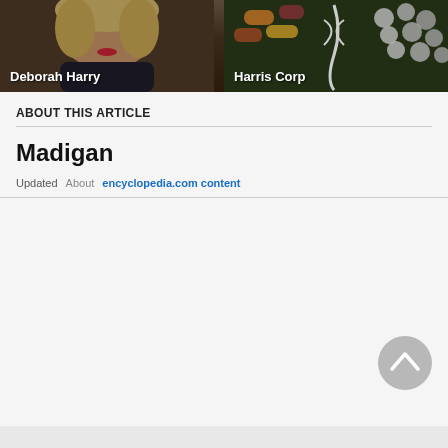[Figure (photo): Photo of Deborah Harry with name label overlay]
[Figure (photo): Medical/pharmaceutical imagery for Harris Corp with name label overlay]
ABOUT THIS ARTICLE
Madigan
Updated   About encyclopedia.com content